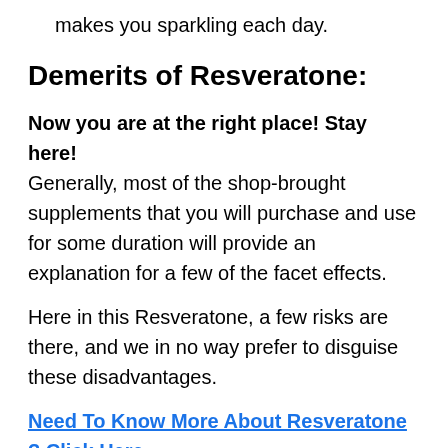makes you sparkling each day.
Demerits of Resveratone:
Now you are at the right place! Stay here! Generally, most of the shop-brought supplements that you will purchase and use for some duration will provide an explanation for a few of the facet effects.
Here in this Resveratone, a few risks are there, and we in no way prefer to disguise these disadvantages.
Need To Know More About Resveratone ? Click Here
You can find the Resvoratone only on the official